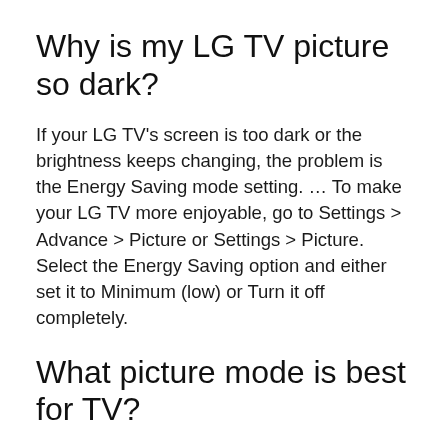Why is my LG TV picture so dark?
If your LG TV's screen is too dark or the brightness keeps changing, the problem is the Energy Saving mode setting. … To make your LG TV more enjoyable, go to Settings > Advance > Picture or Settings > Picture. Select the Energy Saving option and either set it to Minimum (low) or Turn it off completely.
What picture mode is best for TV?
Picture Mode: Movie/Cinema Mode